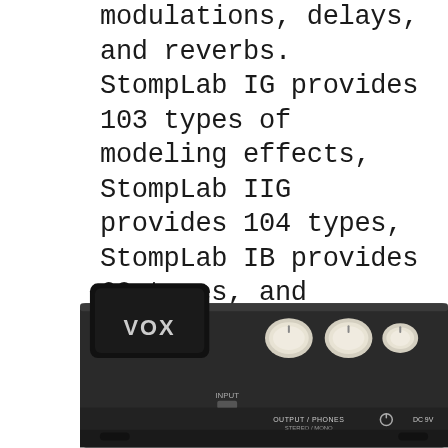modulations, delays, and reverbs. StompLab IG provides 103 types of modeling effects, StompLab IIG provides 104 types, StompLab IB provides 60 types, and StompLab IIB provides 61 types; Each effect model boasts a sound engine that has been distilled from the worldwide best-selling VT+ series of modeling amps as well as the ToneLab series of multi-effect units..
[Figure (photo): Bottom portion of a Vox StompLab multi-effect guitar pedal unit, showing control knobs (cream/white colored), a large footswitch, input/output labels, power button, and DC 9V port on a dark grey/black chassis.]